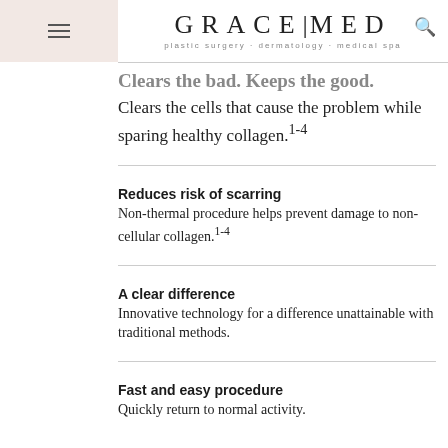GRACE|MED — plastic surgery · dermatology · medical spa
Clears the bad. Keeps the good.
Clears the cells that cause the problem while sparing healthy collagen.1-4
Reduces risk of scarring
Non-thermal procedure helps prevent damage to non-cellular collagen.1-4
A clear difference
Innovative technology for a difference unattainable with traditional methods.
Fast and easy procedure
Quickly return to normal activity.